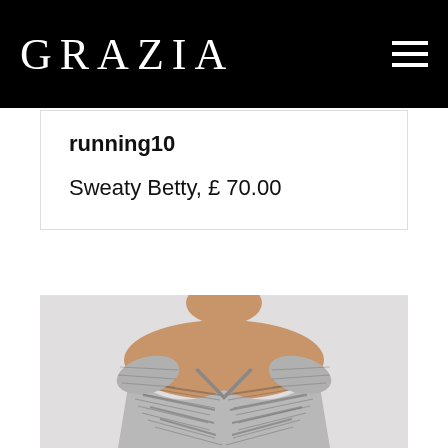GRAZIA
running10
Sweaty Betty, £ 70.00
[Figure (photo): A woman model wearing a grey and black patterned short-sleeve athletic V-neck top, photographed from the shoulders up, against a light grey/white background.]